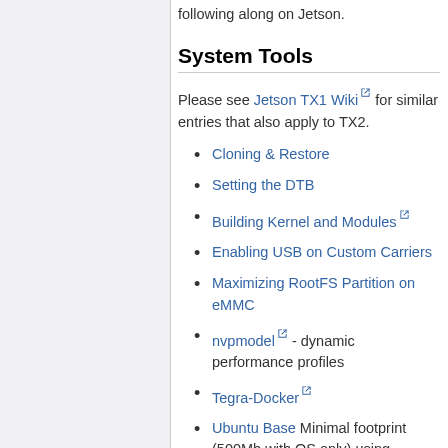following along on Jetson.
System Tools
Please see Jetson TX1 Wiki for similar entries that also apply to TX2.
Cloning & Restore
Setting the DTB
Building Kernel and Modules
Enabling USB on Custom Carriers
Maximizing RootFS Partition on eMMC
nvpmodel - dynamic performance profiles
Tegra-Docker
Ubuntu Base Minimal footprint (500Mb with OS only) using Ubuntu Base
Boot from SD card